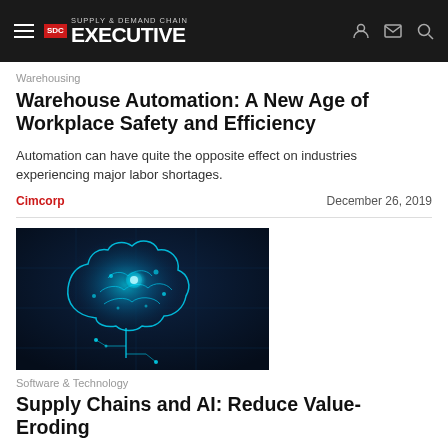Supply & Demand Chain Executive
Warehousing
Warehouse Automation: A New Age of Workplace Safety and Efficiency
Automation can have quite the opposite effect on industries experiencing major labor shortages.
Cimcorp    December 26, 2019
[Figure (photo): Glowing blue digital brain illustration with circuit board patterns on dark background, representing artificial intelligence]
Software & Technology
Supply Chains and AI: Reduce Value-Eroding